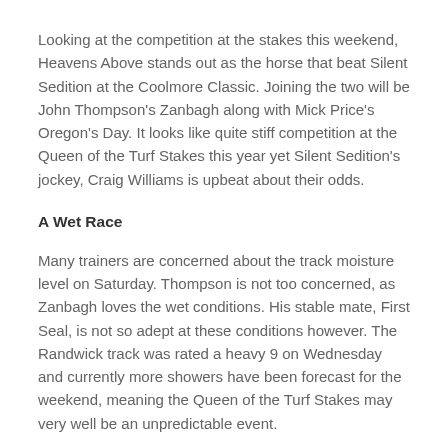Looking at the competition at the stakes this weekend, Heavens Above stands out as the horse that beat Silent Sedition at the Coolmore Classic. Joining the two will be John Thompson's Zanbagh along with Mick Price's Oregon's Day. It looks like quite stiff competition at the Queen of the Turf Stakes this year yet Silent Sedition's jockey, Craig Williams is upbeat about their odds.
A Wet Race
Many trainers are concerned about the track moisture level on Saturday. Thompson is not too concerned, as Zanbagh loves the wet conditions. His stable mate, First Seal, is not so adept at these conditions however. The Randwick track was rated a heavy 9 on Wednesday and currently more showers have been forecast for the weekend, meaning the Queen of the Turf Stakes may very well be an unpredictable event.
Zanbagh and First Seal currently have double figure odds on a win at the Queen of the Turf Stakes. Silent Sedition is at the top of the group, followed by Foxplay, Dixie Blossom and the Silent Sedition rival,